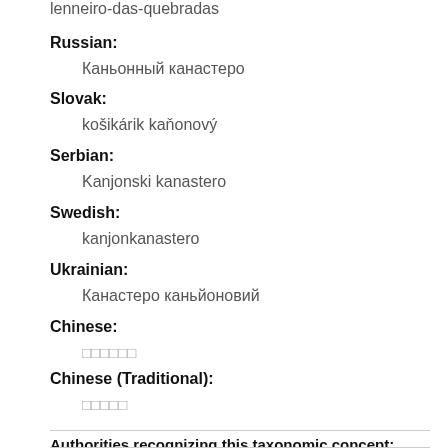lenneiro-das-quebradas
Russian: Каньонный канастеро
Slovak: košikárik kaňonový
Serbian: Kanjonski kanastero
Swedish: kanjonkanastero
Ukrainian: Канастеро каньйоновий
Chinese: □□□□□□
Chinese (Traditional): □□□□□
Authorities recognizing this taxonomic concept: